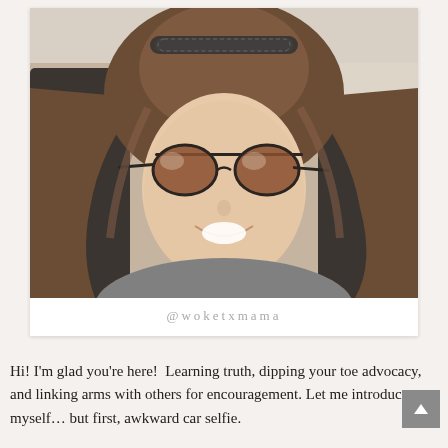[Figure (photo): Selfie photo of a woman with long brown hair, wearing sunglasses and a headband, smiling while sitting in a car. The photo is in a white card frame.]
@woketxmama
Hi! I'm glad you're here!  Learning truth, dipping your toe advocacy, and linking arms with others for encouragement. Let me introduce myself… but first, awkward car selfie.